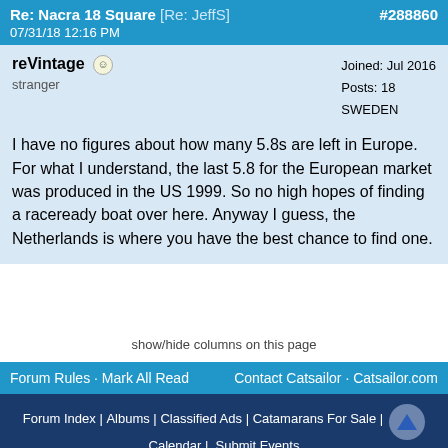Re: Nacra 18 Square [Re: JeffS]  #288860  07/31/18 12:16 PM
reVintage
stranger
Joined: Jul 2016
Posts: 18
SWEDEN
I have no figures about how many 5.8s are left in Europe. For what I understand, the last 5.8 for the European market was produced in the US 1999. So no high hopes of finding a raceready boat over here. Anyway I guess, the Netherlands is where you have the best chance to find one.
show/hide columns on this page
Forum Rules · Mark All Read    Contact Catsailor · Catsailor.com
Forum Index |  Albums |  Classified Ads |  Catamarans For Sale |  Calendar |  Submit Events
Powered by UBB.threads™ PHP Forum Software 7.7.1